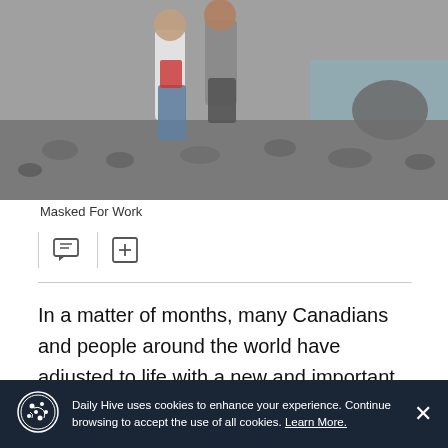[Figure (photo): Photo of people walking on a rocky beach near water, partially cropped at top of page.]
Masked For Work
In a matter of months, many Canadians and people around the world have adjusted to life with a new and important tool to help reduce the spread of COVID-19: face masks.
Daily Hive uses cookies to enhance your experience. Continue browsing to accept the use of all cookies. Learn More.